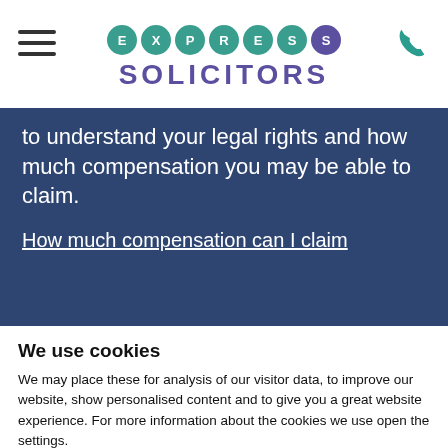EXPRESS SOLICITORS
to understand your legal rights and how much compensation you may be able to claim.
How much compensation can I claim
We use cookies
We may place these for analysis of our visitor data, to improve our website, show personalised content and to give you a great website experience. For more information about the cookies we use open the settings.
Accept all
Change settings